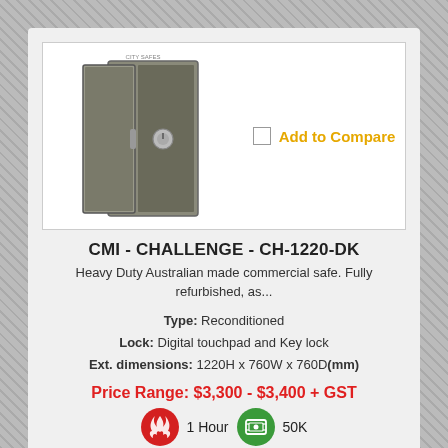[Figure (photo): Photo of a large open floor safe (CMI Challenge CH-1220-DK), grey/silver metal, with door open showing interior shelves. City Safes logo visible at top.]
CMI - CHALLENGE - CH-1220-DK
Heavy Duty Australian made commercial safe. Fully refurbished, as...
Type: Reconditioned
Lock: Digital touchpad and Key lock
Ext. dimensions: 1220H x 760W x 760D(mm)
Price Range: $3,300 - $3,400 + GST
[Figure (infographic): Fire rating icon (red circle with flame): 1 Hour. Cash rating icon (green circle with cash symbol): 50K.]
[Figure (logo): CMI brand logo at bottom]